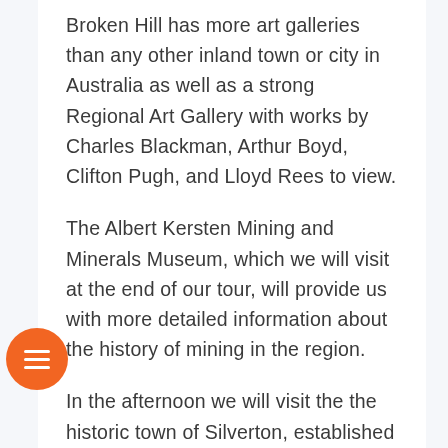Broken Hill has more art galleries than any other inland town or city in Australia as well as a strong Regional Art Gallery with works by Charles Blackman, Arthur Boyd, Clifton Pugh, and Lloyd Rees to view.
The Albert Kersten Mining and Minerals Museum, which we will visit at the end of our tour, will provide us with more detailed information about the history of mining in the region.
In the afternoon we will visit the the historic town of Silverton, established in 1883. It was once a thriving mining community, with a population of some 3000, but it now has just a few permanent residents. Some of the significant historic